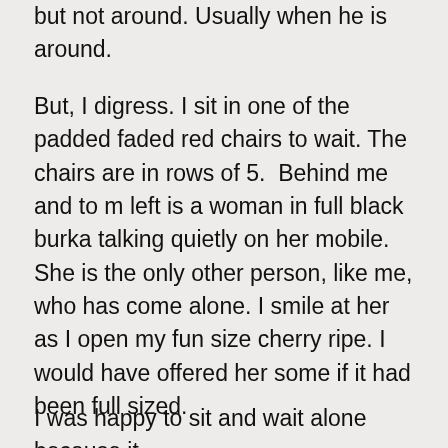but not around. Usually when he is around.
But, I digress. I sit in one of the padded faded red chairs to wait. The chairs are in rows of 5.  Behind me and to m left is a woman in full black burka talking quietly on her mobile. She is the only other person, like me, who has come alone. I smile at her as I open my fun size cherry ripe. I would have offered her some if it had been full sized.
I was happy to sit and wait alone because it